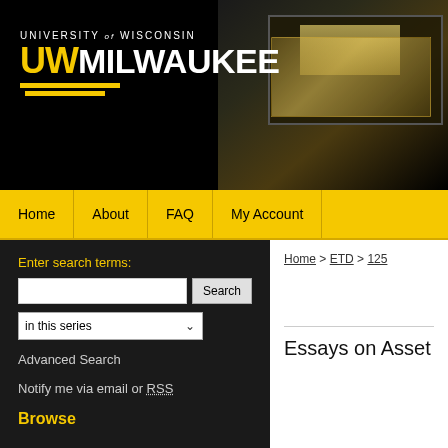[Figure (screenshot): University of Wisconsin Milwaukee website header with logo on black background and building photo at night on the right]
UNIVERSITY of WISCONSIN UW MILWAUKEE
Home
About
FAQ
My Account
Enter search terms:
in this series
Advanced Search
Notify me via email or RSS
Browse
Home > ETD > 125
Essays on Asset